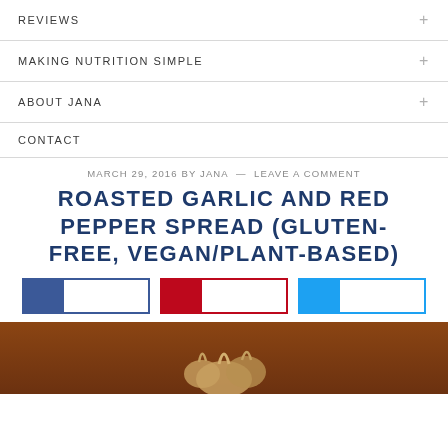REVIEWS
MAKING NUTRITION SIMPLE
ABOUT JANA
CONTACT
MARCH 29, 2016 BY JANA  —  LEAVE A COMMENT
ROASTED GARLIC AND RED PEPPER SPREAD (GLUTEN-FREE, VEGAN/PLANT-BASED)
[Figure (other): Three social sharing buttons: Facebook (blue), Pinterest (red), Twitter/share (cyan)]
[Figure (photo): Photo of roasted garlic bulbs on a brown/russet background, cropped at bottom of page]